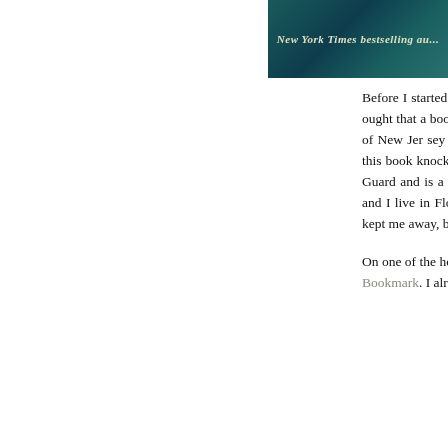[Figure (photo): Book cover or banner image with teal/dark green background and text 'New York Times bestselling au...' in italic gold/cream lettering]
Before I started this blog many moons ago, I fell in love with a book by Robert Kurson. Never once would I have thought that a book would hold me spellbound, but before I knew it, the story of a U-boat submarine sunk off the coast of New Jersey had me in adventure. I've never scuba dived once in my life and I fear sharks, but something about this book knocked me out. I also come from a family who thrives and lives off the water. My husband in the Coast Guard and is a certified diver. And my sister graduated from the Naval Academy. business in Boston. My husband and I live in Florida, on a corner. I've still not tried it, though. I've been on a boat deep under the surface; fear has kept me away, but I need to rethink this. No excuses.

On one of the hottest days of the year in Neptune Beach, Florida, I passed by one of my favorite indie bookstores, The Bookmark. I already have more than enough books to be read, but what book lover can resist "just one